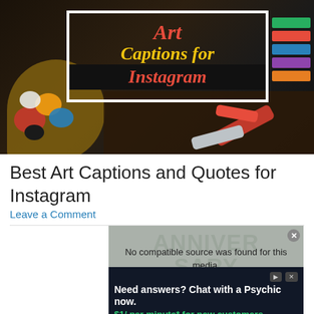[Figure (photo): Hero image of art captions for Instagram — dark background with paint palette and tubes, white border box containing title text 'Art Captions for Instagram' in red/yellow cursive script]
Best Art Captions and Quotes for Instagram
Leave a Comment
[Figure (screenshot): Video placeholder with message 'No compatible source was found for this media.' overlaid on blurred Anniversary Captions background thumbnail]
[Figure (screenshot): Advertisement banner: 'Need answers? Chat with a Psychic now. $1/ per minute* for new customers' — California Psychics with Sign up now button]